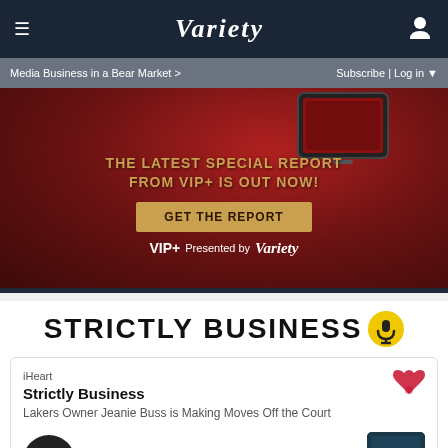≡  VARIETY  👤
Media Business in a Bear Market >   Subscribe | Log in ▼
[Figure (advertisement): Red background advertisement for VIP+ special report by Variety. Text reads: THE LATEST SPECIAL REPORT FROM VIP+ IS OUT NOW! with a gold button: GET THE REPORT. VIP+ Presented by Variety logo at bottom.]
STRICTLY BUSINESS 🎙
iHeart
Strictly Business
Lakers Owner Jeanie Buss is Making Moves Off the Court